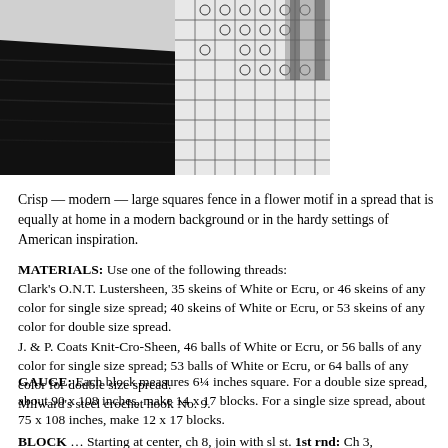[Figure (photo): Black and white photograph of a bed with a dark fuzzy bedspread/rug and a patterned crocheted spread on the right side, showing the finished crochet project in use.]
Crisp — modern — large squares fence in a flower motif in a spread that is equally at home in a modern background or in the hardy settings of American inspiration.
MATERIALS: Use one of the following threads:
Clark's O.N.T. Lustersheen, 35 skeins of White or Ecru, or 46 skeins of any color for single size spread; 40 skeins of White or Ecru, or 53 skeins of any color for double size spread.
J. & P. Coats Knit-Cro-Sheen, 46 balls of White or Ecru, or 56 balls of any color for single size spread; 53 balls of White or Ecru, or 64 balls of any color for double size spread.
Milward's steel crochet hook No. 9.
GAUGE: Each block measures 6¼ inches square. For a double size spread, about 90 x 108 inches, make 14 x 17 blocks. For a single size spread, about 75 x 108 inches, make 12 x 17 blocks.
BLOCK … Starting at center, ch 8, join with sl st. 1st rnd: Ch 3,